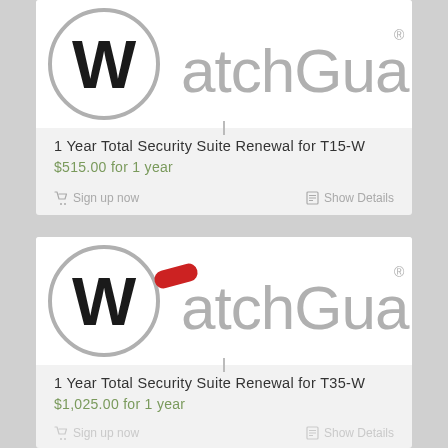[Figure (logo): WatchGuard logo - first card, W in circle with atchGuard text]
1 Year Total Security Suite Renewal for T15-W
$515.00 for 1 year
Sign up now
Show Details
[Figure (logo): WatchGuard logo - second card, W in circle with red dash accent and atchGuard text]
1 Year Total Security Suite Renewal for T35-W
$1,025.00 for 1 year
Sign up now
Show Details